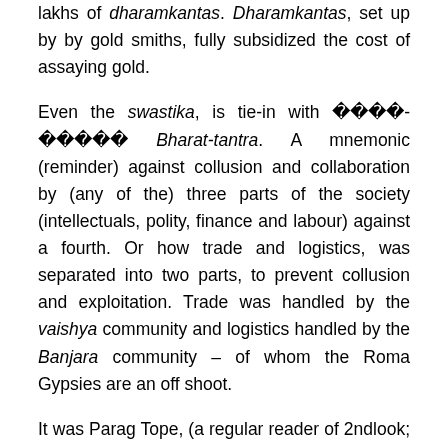lakhs of dharamkantas. Dharamkantas, set up by by gold smiths, fully subsidized the cost of assaying gold.
Even the swastika, is tie-in with [Hindi] Bharat-tantra. A mnemonic (reminder) against collusion and collaboration by (any of the) three parts of the society (intellectuals, polity, finance and labour) against a fourth. Or how trade and logistics, was separated into two parts, to prevent collusion and exploitation. Trade was handled by the vaishya community and logistics handled by the Banjara community – of whom the Roma Gypsies are an off shoot.
It was Parag Tope, (a regular reader of 2ndlook; co-writer of Operation Red Lotus) who first pointed out to me the possible linkage between Swastika and [Hindi] Bharat-tantra. According to Parag Tope,
The Swastika represented a four way split in how